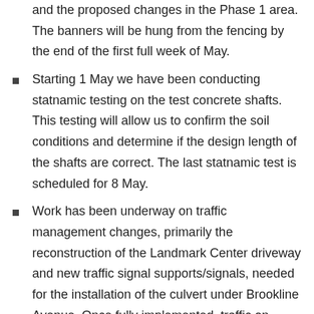and the proposed changes in the Phase 1 area. The banners will be hung from the fencing by the end of the first full week of May.
Starting 1 May we have been conducting statnamic testing on the test concrete shafts. This testing will allow us to confirm the soil conditions and determine if the design length of the shafts are correct. The last statnamic test is scheduled for 8 May.
Work has been underway on traffic management changes, primarily the reconstruction of the Landmark Center driveway and new traffic signal supports/signals, needed for the installation of the culvert under Brookline Avenue. Once fully implemented, traffic on Brookline Avenue between Fenway and Park Drive will be one way only headed inbound. This traffic change is expected to be implemented in early August. Traffic coming down Brookline Avenue or Boylston Street outbound that want to continue down